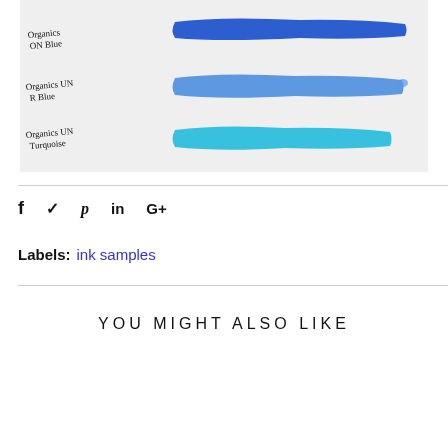[Figure (photo): Photo of ink swatches on white paper. Three handwritten labels on the left and corresponding blue ink brush strokes on the right. Labels read: 'Organics ON Blue', 'Organics UN R Blue', 'Organics UN Turquoise'. Swatches show dark blue, medium blue, and turquoise colors respectively.]
f  ♥  p  in  G+
Labels:  ink samples
YOU MIGHT ALSO LIKE